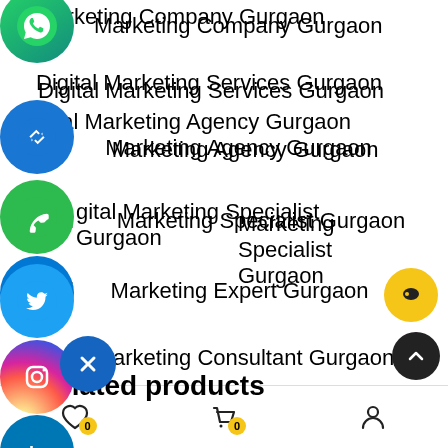Digital Marketing Company Gurgaon
Digital Marketing Services Gurgaon
Digital Marketing Agency Gurgaon
Digital Marketing Specialist Gurgaon
Digital Marketing Expert Gurgaon
Digital Marketing Consultant Gurgaon
Digital Marketing Firm Gurgaon
Web Designing Company Gurgaon
Web Development Company Gurgaon
Related products
[Figure (screenshot): Social media floating icons: WhatsApp, link, phone, Skype, Instagram, LinkedIn, Twitter, close button, chat bubble, scroll-to-top button, and a bottom navigation bar with wishlist, cart (0), and account icons]